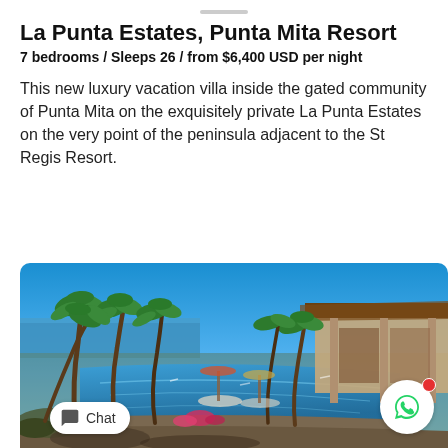La Punta Estates, Punta Mita Resort
7 bedrooms / Sleeps 26 / from $6,400 USD per night
This new luxury vacation villa inside the gated community of Punta Mita on the exquisitely private La Punta Estates on the very point of the peninsula adjacent to the St Regis Resort.
[Figure (photo): Luxury resort villa with infinity pool, palm trees, and ocean view under blue sky]